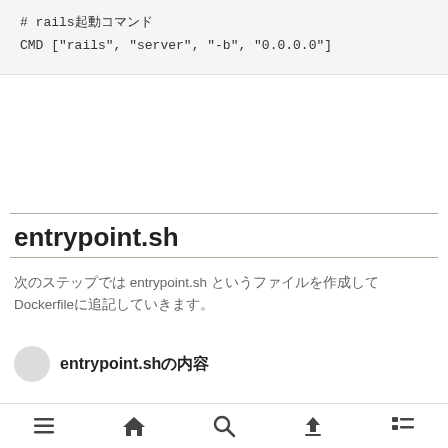# rails起動コマンド
CMD ["rails", "server", "-b", "0.0.0.0"]
entrypoint.sh
次のステップでは entrypoint.sh というファイルを作成してDockerfileに追記していきます。
entrypoint.shの内容